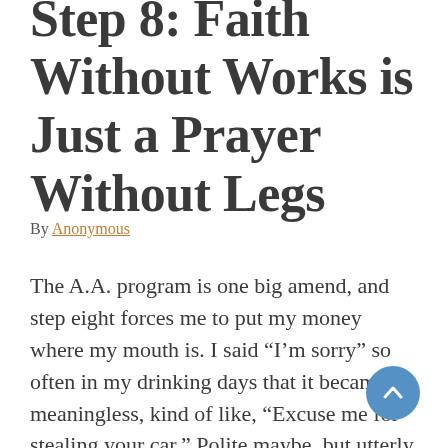Step 8: Faith Without Works is Just a Prayer Without Legs
By Anonymous
The A.A. program is one big amend, and step eight forces me to put my money where my mouth is. I said “I’m sorry” so often in my drinking days that it became meaningless, kind of like, “Excuse me for stealing your car.” Polite maybe, but utterly useless because my behavior never changed; the car was still stolen, and I was still the thief. Now that I have a